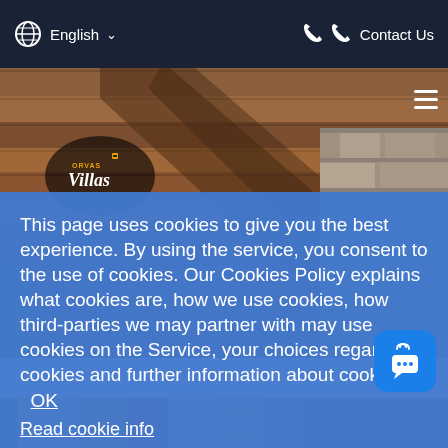English  Contact Us
[Figure (screenshot): Website screenshot showing Orvas Villas logo on a wooden pergola/architecture background photo]
This page uses cookies to give you the best experience. By using the service, you consent to the use of cookies. Our Cookies Policy explains what cookies are, how we use cookies, how third-parties we may partner with may use cookies on the Service, your choices regarding cookies and further information about cookies.  OK
Read cookie info